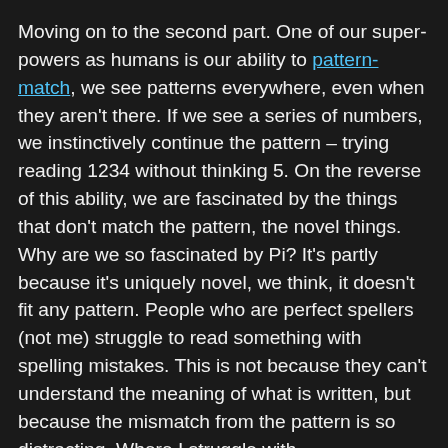Moving on to the second part. One of our superpowers as humans is our ability to pattern-match, we see patterns everywhere, even when they aren't there. If we see a series of numbers, we instinctively continue the pattern – trying reading 1234 without thinking 5. On the reverse of this ability, we are fascinated by the things that don't match the pattern, the novel things. Why are we so fascinated by Pi? It's partly because it's uniquely novel, we think, it doesn't fit any pattern. People who are perfect spellers (not me) struggle to read something with spelling mistakes. This is not because they can't understand the meaning of what is written, but because the mismatch from the pattern is so distracting. Where I struggle with ...